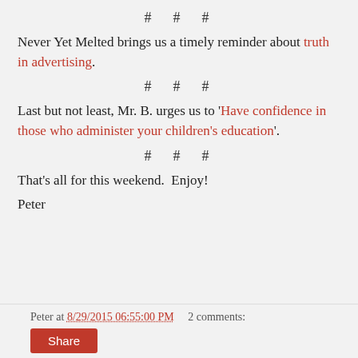# # #
Never Yet Melted brings us a timely reminder about truth in advertising.
# # #
Last but not least, Mr. B. urges us to 'Have confidence in those who administer your children's education'.
# # #
That's all for this weekend.  Enjoy!
Peter
Peter at 8/29/2015 06:55:00 PM    2 comments: